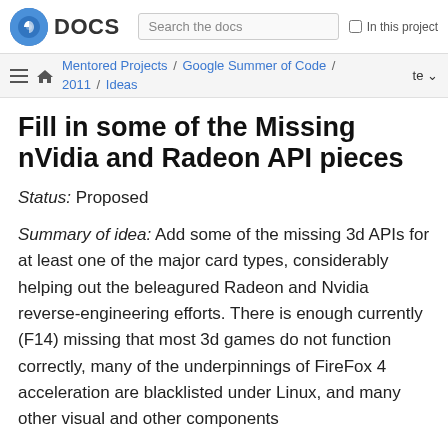Fedora DOCS | Search the docs | In this project
Mentored Projects / Google Summer of Code / 2011 / Ideas
Fill in some of the Missing nVidia and Radeon API pieces
Status: Proposed
Summary of idea: Add some of the missing 3d APIs for at least one of the major card types, considerably helping out the beleagured Radeon and Nvidia reverse-engineering efforts. There is enough currently (F14) missing that most 3d games do not function correctly, many of the underpinnings of FireFox 4 acceleration are blacklisted under Linux, and many other visual and other components